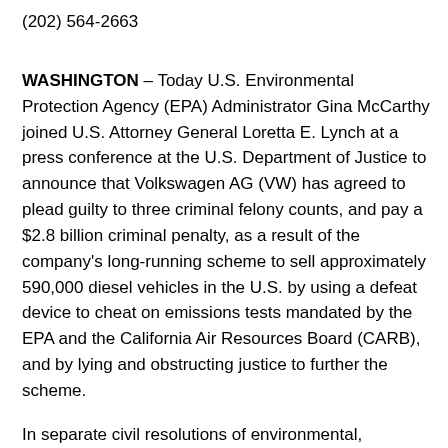(202) 564-2663
WASHINGTON – Today U.S. Environmental Protection Agency (EPA) Administrator Gina McCarthy joined U.S. Attorney General Loretta E. Lynch at a press conference at the U.S. Department of Justice to announce that Volkswagen AG (VW) has agreed to plead guilty to three criminal felony counts, and pay a $2.8 billion criminal penalty, as a result of the company's long-running scheme to sell approximately 590,000 diesel vehicles in the U.S. by using a defeat device to cheat on emissions tests mandated by the EPA and the California Air Resources Board (CARB), and by lying and obstructing justice to further the scheme.
In separate civil resolutions of environmental, customs, and financial claims, VW has agreed to pay $1.5 billion.  This includes EPA's claim for civil penalties against Volkswagen in connection with Volkswagen's importation and sale of...